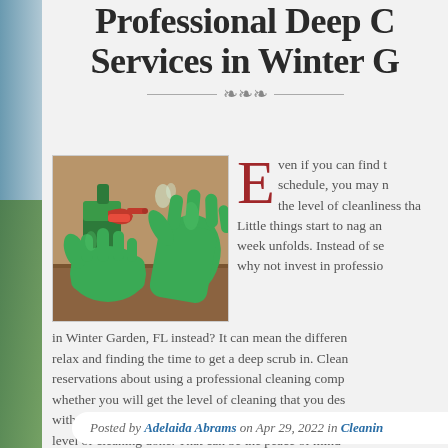Professional Deep Cleaning Services in Winter Garden
[Figure (photo): Hands wearing green rubber gloves, one holding a green spray bottle with a red trigger, against a wooden surface background.]
Even if you can find the time in your schedule, you may not be able to achieve the level of cleanliness that you desire. Little things start to nag and pile up as the week unfolds. Instead of stressing about it, why not invest in professional deep cleaning in Winter Garden, FL instead? It can mean the difference between finding the time to relax and finding the time to get a deep scrub in. Clean reservations about using a professional cleaning company, whether you will get the level of cleaning that you desire, with professional deep cleaning services in Winter Garden, level of cleaning done. That can be the peace of mind
Posted by Adelaida Abrams on Apr 29, 2022 in Cleaning